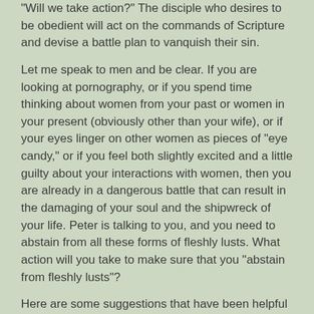“Will we take action?” The disciple who desires to be obedient will act on the commands of Scripture and devise a battle plan to vanquish their sin.
Let me speak to men and be clear. If you are looking at pornography, or if you spend time thinking about women from your past or women in your present (obviously other than your wife), or if your eyes linger on other women as pieces of “eye candy,” or if you feel both slightly excited and a little guilty about your interactions with women, then you are already in a dangerous battle that can result in the damaging of your soul and the shipwreck of your life. Peter is talking to you, and you need to abstain from all these forms of fleshly lusts. What action will you take to make sure that you “abstain from fleshly lusts”?
Here are some suggestions that have been helpful to me.
Be very sensitive to the Holy Spirit’s warnings. The Spirit will make you aware